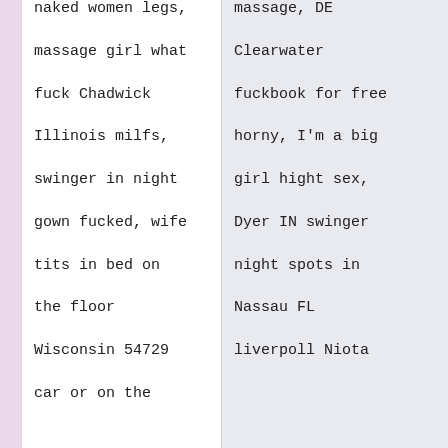naked women legs,
massage girl what
fuck Chadwick
Illinois milfs,
swinger in night
gown fucked, wife
tits in bed on
the floor
Wisconsin 54729
car or on the
massage, DE
Clearwater
fuckbook for free
horny, I'm a big
girl hight sex,
Dyer IN swinger
night spots in
Nassau FL
liverpoll Niota